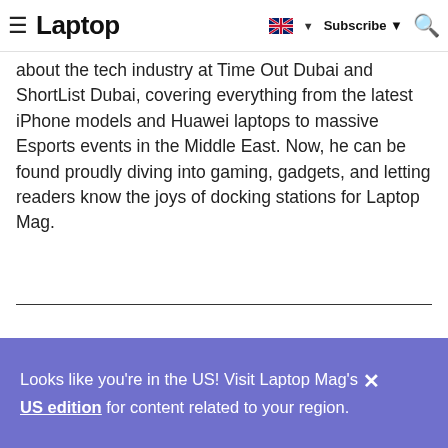Laptop — Subscribe
about the tech industry at Time Out Dubai and ShortList Dubai, covering everything from the latest iPhone models and Huawei laptops to massive Esports events in the Middle East. Now, he can be found proudly diving into gaming, gadgets, and letting readers know the joys of docking stations for Laptop Mag.
Looks like you're in the US! Visit Laptop Mag's US edition for content related to your region.